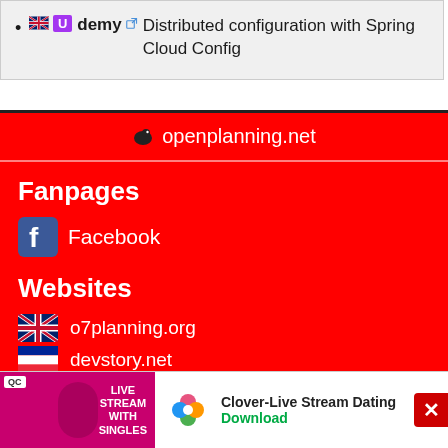Udemy - Distributed configuration with Spring Cloud Config
openplanning.net
Fanpages
Facebook
Websites
o7planning.org
devstory.net
codestory.de
be...
op...
[Figure (screenshot): Advertisement banner for Clover-Live Stream Dating app with QC label and download button]